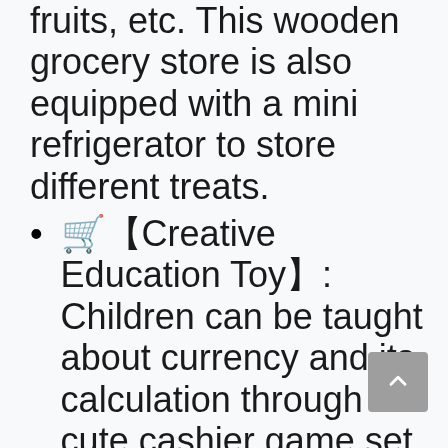fruits, etc. This wooden grocery store is also equipped with a mini refrigerator to store different treats.
🛒【Creative Education Toy】: Children can be taught about currency and its calculation through the cute cashier game set. It allows them to play with their friends and siblings to develop social skills and hand-eye coordination. This educational supermarket toy certainly stimulates and develops their imagination and creativity.